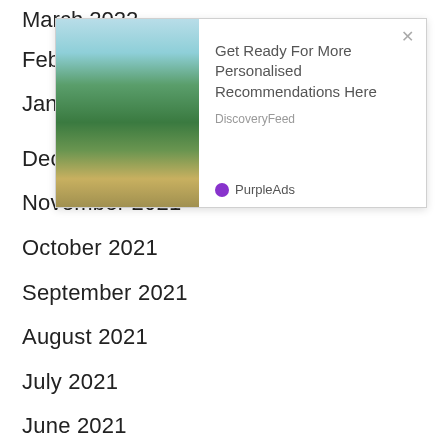March 2022
February 2022
January 2022
[Figure (other): Advertisement overlay with mountain landscape image. Text reads: 'Get Ready For More Personalised Recommendations Here', source: DiscoveryFeed, brand: PurpleAds]
December 2021
November 2021
October 2021
September 2021
August 2021
July 2021
June 2021
May 2021
April 2021
March 2021